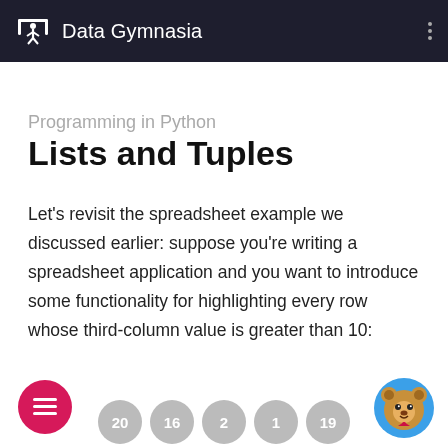Data Gymnasia
Programming in Python
Lists and Tuples
Let's revisit the spreadsheet example we discussed earlier: suppose you're writing a spreadsheet application and you want to introduce some functionality for highlighting every row whose third-column value is greater than 10:
[Figure (other): Bottom UI bar with menu button (pink circle with list icon), five gray number circles (20, 16, 2, 1, 19), and a bear mascot chat button (blue circle)]